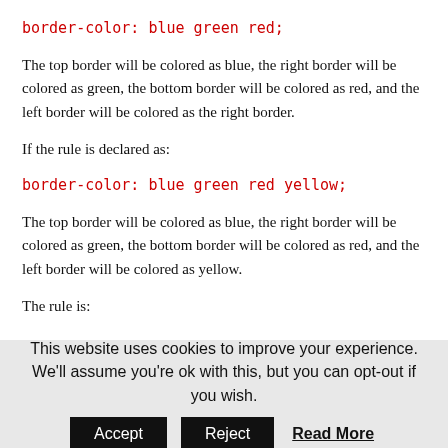border-color: blue green red;
The top border will be colored as blue, the right border will be colored as green, the bottom border will be colored as red, and the left border will be colored as the right border.
If the rule is declared as:
border-color: blue green red yellow;
The top border will be colored as blue, the right border will be colored as green, the bottom border will be colored as red, and the left border will be colored as yellow.
The rule is:
This website uses cookies to improve your experience. We'll assume you're ok with this, but you can opt-out if you wish.
Accept
Reject
Read More